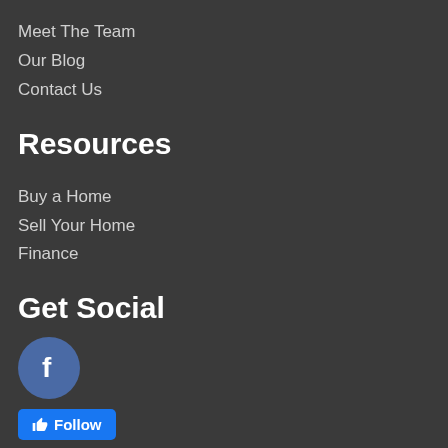Meet The Team
Our Blog
Contact Us
Resources
Buy a Home
Sell Your Home
Finance
Get Social
[Figure (logo): Facebook circle icon with 'f' letter in white on a blue-grey circular background]
Follow